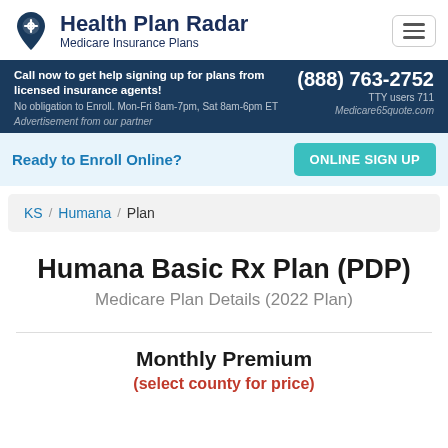Health Plan Radar — Medicare Insurance Plans
Call now to get help signing up for plans from licensed insurance agents! No obligation to Enroll. Mon-Fri 8am-7pm, Sat 8am-6pm ET | (888) 763-2752 | TTY users 711 | Advertisement from our partner | Medicare65quote.com
Ready to Enroll Online?
ONLINE SIGN UP
KS / Humana / Plan
Humana Basic Rx Plan (PDP)
Medicare Plan Details (2022 Plan)
Monthly Premium
(select county for price)